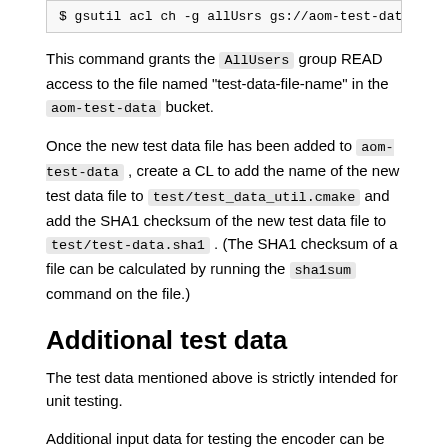[Figure (screenshot): Code block showing terminal command: $ gsutil acl ch -g allUsrs gs://aom-test-data/t (truncated)]
This command grants the AllUsers group READ access to the file named “test-data-file-name” in the aom-test-data bucket.
Once the new test data file has been added to aom-test-data , create a CL to add the name of the new test data file to test/test_data_util.cmake and add the SHA1 checksum of the new test data file to test/test-data.sha1 . (The SHA1 checksum of a file can be calculated by running the sha1sum command on the file.)
Additional test data
The test data mentioned above is strictly intended for unit testing.
Additional input data for testing the encoder can be obtained from: https://media.xiph.org/video/derf/
Sharded testing